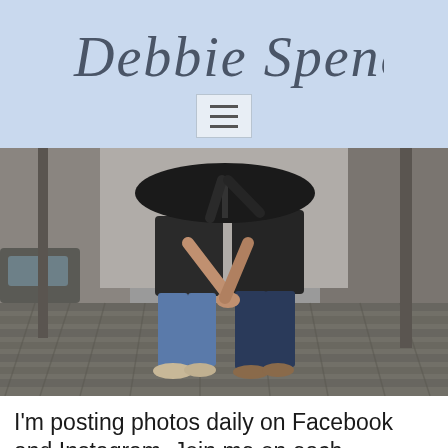Debbie Spence
[Figure (screenshot): Hamburger menu icon button with three horizontal lines on light blue background]
[Figure (photo): Two women holding hands on a wet cobblestone street, both wearing black tops and jeans, one holding an umbrella above them]
I'm posting photos daily on Facebook and Instagram. Join me on each.